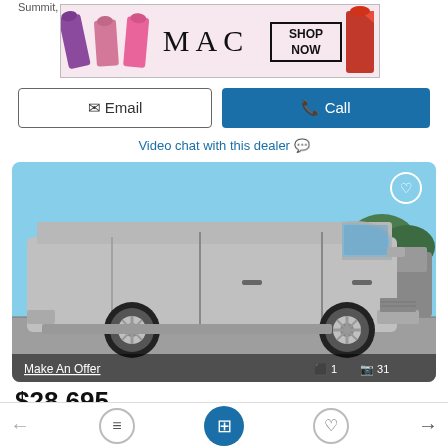Summit,
[Figure (screenshot): MAC cosmetics advertisement banner showing lipsticks and SHOP NOW button]
Email
Call
Video chat with this dealer 💬
[Figure (photo): Silver 2018 Chevrolet Express G2500 cargo van, side profile view in parking lot]
Make An Offer
1  31
$28,695
2018 CHEVROLET EXPRESS G2500 Van, Cargo Van,